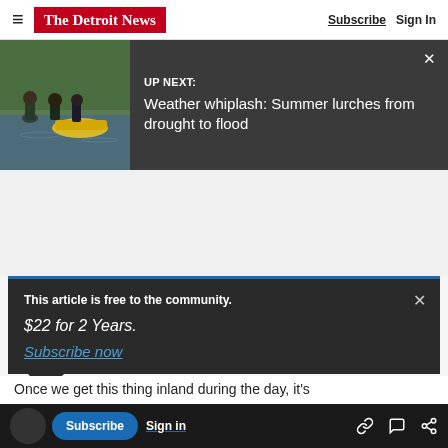The Detroit News — Subscribe | Sign In
UP NEXT: Weather whiplash: Summer lurches from drought to flood
[Figure (photo): People wading through floodwater with a yellow inflatable raft]
This article is free to the community. $22 for 2 Years. Subscribe now
with flooding possible in those states.
Once we get this thing inland during the day, it's